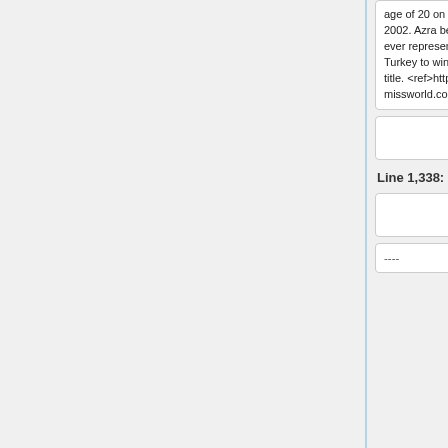age of 20 on December 7, 2002. Azra became the first ever representative from Turkey to win the Miss World title. <ref>http://www.missworld.com</ref>
age of 20 on December 7, 2002. Azra became the first ever representative from Turkey to win the Miss World title. <ref>http://www.missworld.com</ref>
Line 1,338:
Line 1,358:
----
----
* Istanbul Airport in Turkey was certified as a